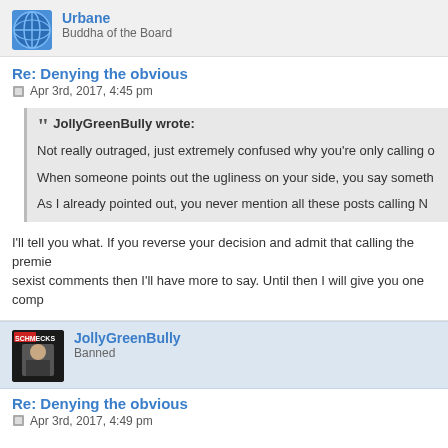Urbane
Buddha of the Board
Re: Denying the obvious
Apr 3rd, 2017, 4:45 pm
JollyGreenBully wrote:
Not really outraged, just extremely confused why you're only calling o...
When someone points out the ugliness on your side, you say someth...
As I already pointed out, you never mention all these posts calling N...
I'll tell you what. If you reverse your decision and admit that calling the premie... sexist comments then I'll have more to say. Until then I will give you one comp...
JollyGreenBully
Banned
Re: Denying the obvious
Apr 3rd, 2017, 4:49 pm